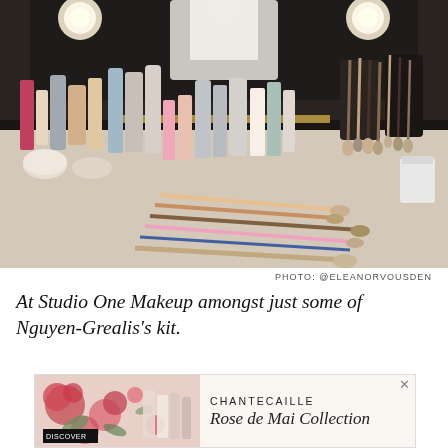[Figure (photo): A makeup vanity table covered with numerous makeup products, foundations, brushes, pencils, and beauty tools. A person in a white shirt is visible in the mirror reflection. Bright vanity lights are visible at the top of the mirror. Photo credit: @ELEANORVOUSDEN]
PHOTO: @ELEANORVOUSDEN
At Studio One Makeup amongst just some of Nguyen-Grealis's kit.
[Figure (photo): Advertisement banner for Chantecaille Rose de Mai Collection showing flowers and beauty products on a pink/floral background with 'DISCOVER' label.]